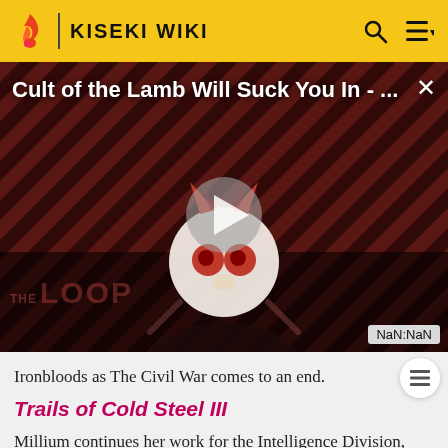KISEKI WIKI
[Figure (screenshot): Video player thumbnail for 'Cult of the Lamb Will Suck You In - ...' showing a cartoon character with red eyes on a dark diagonal striped background, with a play button in the center, THE LOOP watermark, and NaN:NaN timestamp]
Ironbloods as The Civil War comes to an end.
Trails of Cold Steel III
Millium continues her work for the Intelligence Division, and takes the time to bond with her 'sister' Altina. The pair